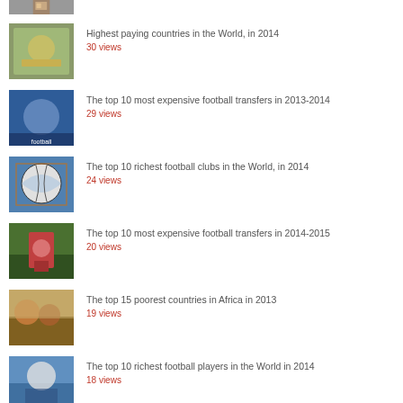(partial thumbnail at top)
Highest paying countries in the World, in 2014
30 views
The top 10 most expensive football transfers in 2013-2014
29 views
The top 10 richest football clubs in the World, in 2014
24 views
The top 10 most expensive football transfers in 2014-2015
20 views
The top 15 poorest countries in Africa in 2013
19 views
The top 10 richest football players in the World in 2014
18 views
The top 25 highest salaries in sports in 2013-2014
17 views
Top 10 highest paid footballers in the World in 2014